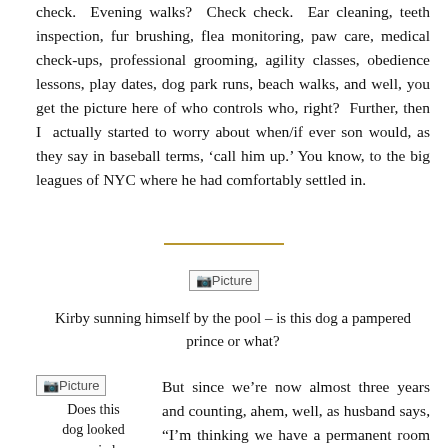check. Evening walks? Check check. Ear cleaning, teeth inspection, fur brushing, flea monitoring, paw care, medical check-ups, professional grooming, agility classes, obedience lessons, play dates, dog park runs, beach walks, and well, you get the picture here of who controls who, right? Further, then I actually started to worry about when/if ever son would, as they say in baseball terms, 'call him up.' You know, to the big leagues of NYC where he had comfortably settled in.
[Figure (photo): Photo of Kirby sunning himself by the pool]
Kirby sunning himself by the pool – is this dog a pampered prince or what?
[Figure (photo): Photo of a dog that looks worried]
Does this dog looked worried
But since we're now almost three years and counting, ahem, well, as husband says, "I'm thinking we have a permanent room mate."